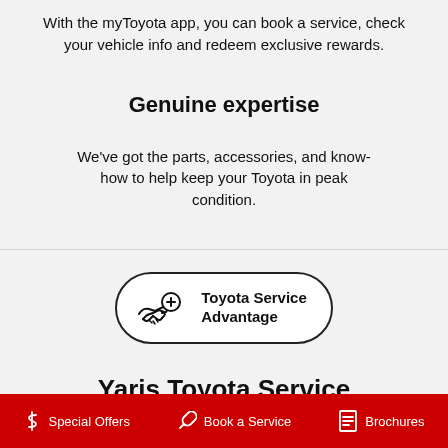With the myToyota app, you can book a service, check your vehicle info and redeem exclusive rewards.
Genuine expertise
We've got the parts, accessories, and know-how to help keep your Toyota in peak condition.
[Figure (logo): Toyota Service Advantage badge with handshake and plus icon inside a rounded rectangle border]
Yaris Toyota Service Advantage
$ Special Offers   Book a Service   Brochures